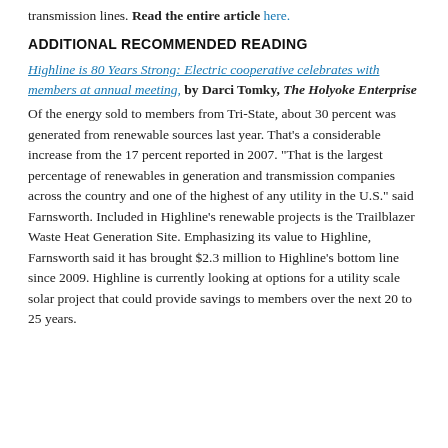transmission lines. Read the entire article here.
ADDITIONAL RECOMMENDED READING
Highline is 80 Years Strong: Electric cooperative celebrates with members at annual meeting, by Darci Tomky, The Holyoke Enterprise
Of the energy sold to members from Tri-State, about 30 percent was generated from renewable sources last year. That’s a considerable increase from the 17 percent reported in 2007. “That is the largest percentage of renewables in generation and transmission companies across the country and one of the highest of any utility in the U.S.” said Farnsworth. Included in Highline’s renewable projects is the Trailblazer Waste Heat Generation Site. Emphasizing its value to Highline, Farnsworth said it has brought $2.3 million to Highline’s bottom line since 2009. Highline is currently looking at options for a utility scale solar project that could provide savings to members over the next 20 to 25 years.